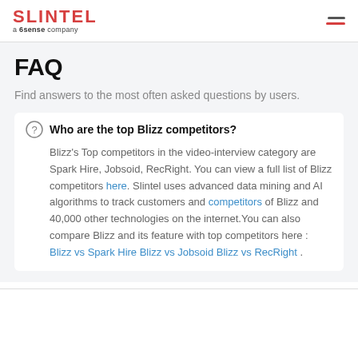SLINTEL a 6sense company
FAQ
Find answers to the most often asked questions by users.
Who are the top Blizz competitors?
Blizz's Top competitors in the video-interview category are Spark Hire, Jobsoid, RecRight. You can view a full list of Blizz competitors here. Slintel uses advanced data mining and AI algorithms to track customers and competitors of Blizz and 40,000 other technologies on the internet.You can also compare Blizz and its feature with top competitors here : Blizz vs Spark Hire Blizz vs Jobsoid Blizz vs RecRight .